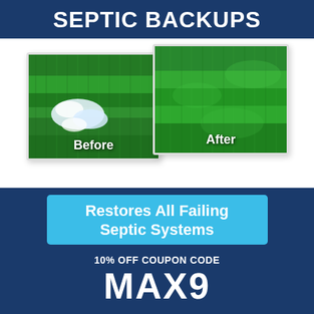SEPTIC BACKUPS
[Figure (photo): Before and after comparison photos showing grass lawn. 'Before' photo shows green grass with white water/sewage backup patches. 'After' photo shows healthy green grass fully restored.]
Restores All Failing Septic Systems
10% OFF COUPON CODE
MAX9